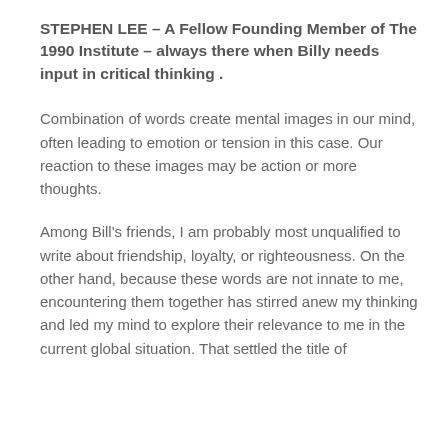STEPHEN LEE – A Fellow Founding Member of The 1990 Institute – always there when Billy needs input in critical thinking .
Combination of words create mental images in our mind, often leading to emotion or tension in this case. Our reaction to these images may be action or more thoughts.
Among Bill's friends, I am probably most unqualified to write about friendship, loyalty, or righteousness. On the other hand, because these words are not innate to me, encountering them together has stirred anew my thinking and led my mind to explore their relevance to me in the current global situation. That settled the title of